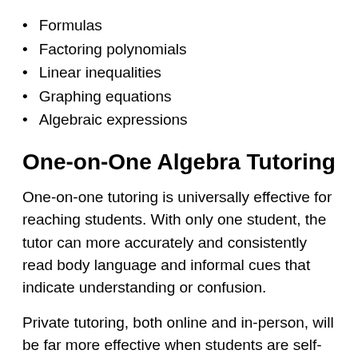Formulas
Factoring polynomials
Linear inequalities
Graphing equations
Algebraic expressions
One-on-One Algebra Tutoring
One-on-one tutoring is universally effective for reaching students. With only one student, the tutor can more accurately and consistently read body language and informal cues that indicate understanding or confusion.
Private tutoring, both online and in-person, will be far more effective when students are self-conscious or resistant to help. In classroom settings, these students are more difficult to engage and are more likely to get lost in the